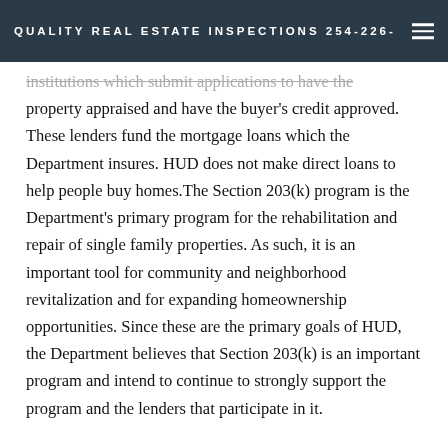QUALITY REAL ESTATE INSPECTIONS 254-226-
institutions which submit applications to have the property appraised and have the buyer's credit approved. These lenders fund the mortgage loans which the Department insures. HUD does not make direct loans to help people buy homes.The Section 203(k) program is the Department's primary program for the rehabilitation and repair of single family properties. As such, it is an important tool for community and neighborhood revitalization and for expanding homeownership opportunities. Since these are the primary goals of HUD, the Department believes that Section 203(k) is an important program and intend to continue to strongly support the program and the lenders that participate in it.
Many lenders have successfully used the Section 203(k) program in partnership with state and local